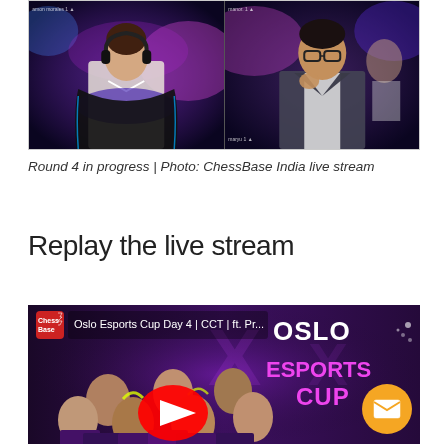[Figure (photo): Split-screen live stream showing two chess players at gaming stations with colorful lighting backdrop. Left panel shows a young man in white shirt with gaming headphones, right panel shows a man with glasses in a suit.]
Round 4 in progress | Photo: ChessBase India live stream
Replay the live stream
[Figure (screenshot): YouTube video thumbnail for Oslo Esports Cup Day 4 | CCT | ft. Pr... showing multiple chess players with Oslo Esports Cup text overlay and YouTube play button.]